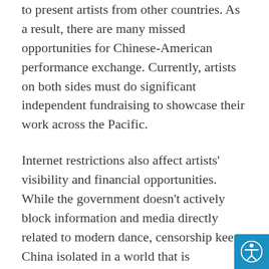to present artists from other countries. As a result, there are many missed opportunities for Chinese-American performance exchange. Currently, artists on both sides must do significant independent fundraising to showcase their work across the Pacific.
Internet restrictions also affect artists' visibility and financial opportunities. While the government doesn't actively block information and media directly related to modern dance, censorship keeps China isolated in a world that is increasingly connected by the proliferation of social media. Chinese do not have access to major US websites, and as a result China has developed its own social media culture. While Americans use Facebook, YouTube, Instagram